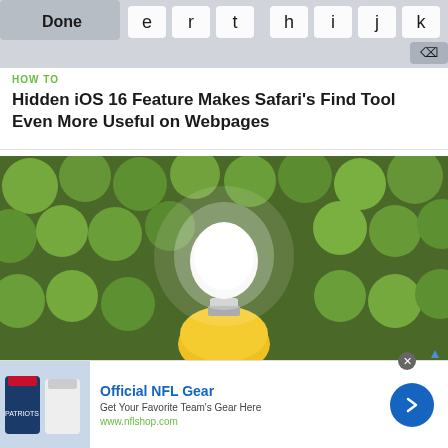[Figure (screenshot): Top portion of a smartphone keyboard showing keys: Done, e, r, t, h, i, j, k, and a delete (x) button on a light gray background]
HOW TO
Hidden iOS 16 Feature Makes Safari's Find Tool Even More Useful on Webpages
[Figure (photo): A glowing white light bulb inserted into a yellow lemon, surrounded by many green limes/lemons on a dark background]
HOW TO
The Best Investigatory Projects in Science: 16 Fun & Easy Ideas t…
[Figure (screenshot): Advertisement banner for Official NFL Gear showing NFL jerseys/apparel on the left, ad text in the center, and a blue circular arrow button on the right. URL: www.nflshop.com]